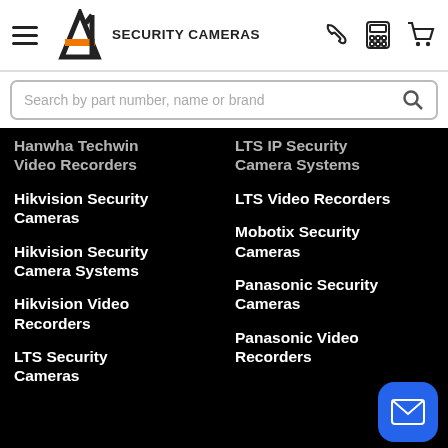[Figure (logo): A1 Security Cameras logo with hamburger menu icon on left, phone, calculator, and cart icons on right in white header bar]
Search by part number, name or brand
Hanwha Techwin Video Recorders
LTS IP Security Camera Systems
Hikvision Security Cameras
LTS Video Recorders
Hikvision Security Camera Systems
Mobotix Security Cameras
Hikvision Video Recorders
Panasonic Security Cameras
LTS Security Cameras
Panasonic Video Recorders
[Figure (illustration): Blue rounded square button with white envelope/mail icon]